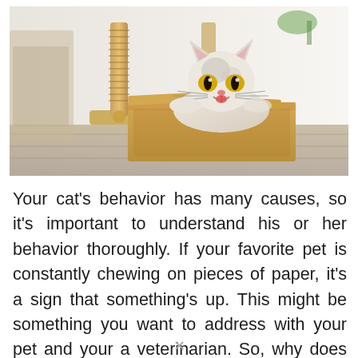[Figure (photo): A white and grey cat sitting inside a brown cardboard box, sticking its tongue out with yellow eyes wide open, next to a rope scratching post. The setting appears to be a home interior with wood flooring and a white wall.]
Your cat's behavior has many causes, so it's important to understand his or her behavior thoroughly. If your favorite pet is constantly chewing on pieces of paper, it's a sign that something's up. This might be something you want to address with your pet and your a veterinarian. So, why does my cat chew